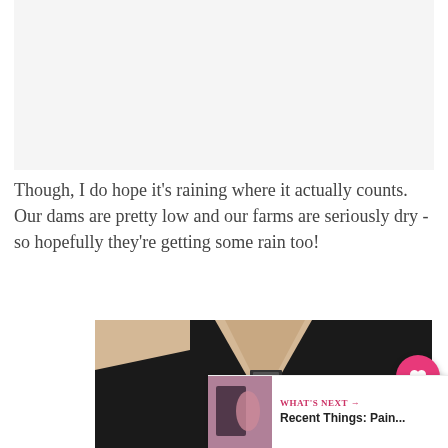Though, I do hope it's raining where it actually counts. Our dams are pretty low and our farms are seriously dry - so hopefully they're getting some rain too!
[Figure (photo): A black t-shirt laid flat on a wooden surface, showing the collar and neck tag area. The bottom of the shirt shows partial gold text beginning with 'BEWAR' (likely 'BEWARE') in a banner graphic.]
WHAT'S NEXT →
Recent Things: Pain...